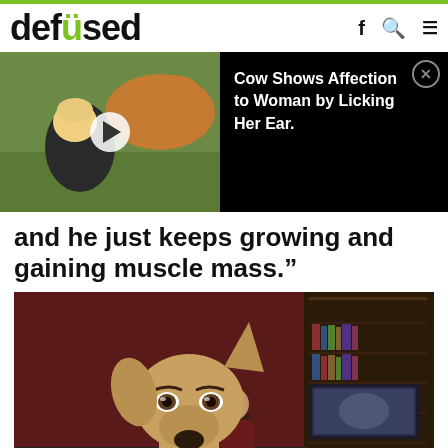defused
[Figure (screenshot): Video thumbnail showing a woman with a cow, with a play button overlay. Adjacent black panel with text: 'Cow Shows Affection to Woman by Licking Her Ear.' and a close button.]
and he just keeps growing and gaining muscle mass.”
[Figure (photo): Large dog (tan/fawn colored, wearing a collar) sits in the foreground with a person sitting behind it on a couch, bookshelves and a TV visible in the background.]